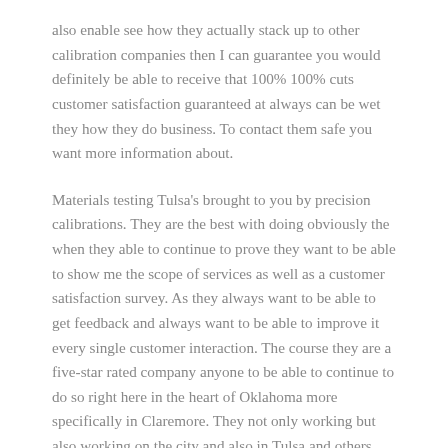also enable see how they actually stack up to other calibration companies then I can guarantee you would definitely be able to receive that 100% 100% cuts customer satisfaction guaranteed at always can be wet they how they do business. To contact them safe you want more information about.
Materials testing Tulsa's brought to you by precision calibrations. They are the best with doing obviously the when they able to continue to prove they want to be able to show me the scope of services as well as a customer satisfaction survey. As they always want to be able to get feedback and always want to be able to improve it every single customer interaction. The course they are a five-star rated company anyone to be able to continue to do so right here in the heart of Oklahoma more specifically in Claremore. They not only working but also working on the city and also in Tulsa and others running for states.